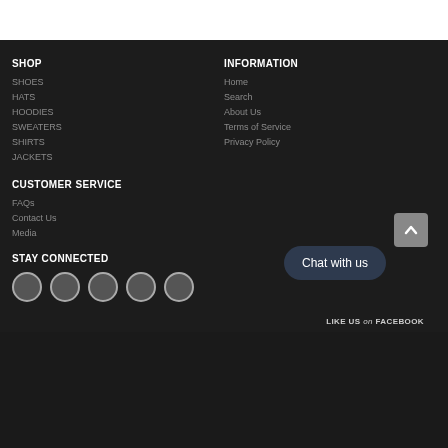SHOP
SHOES
HATS
HOODIES
SWEATERS
SHIRTS
JACKETS
INFORMATION
Home
Search
About Us
Terms of Service
Privacy Policy
CUSTOMER SERVICE
FAQs
Contact Us
Media
STAY CONNECTED
Chat with us
LIKE US on FACEBOOK